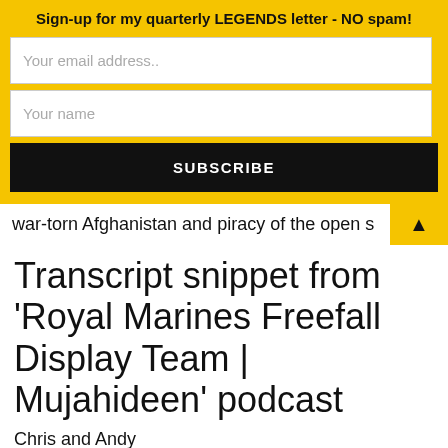Sign-up for my quarterly LEGENDS letter - NO spam!
Your email address..
Your name
SUBSCRIBE
war-torn Afghanistan and piracy of the open s
Transcript snippet from 'Royal Marines Freefall Display Team | Mujahideen' podcast
Chris and Andy
C – Andy, how are you brother?